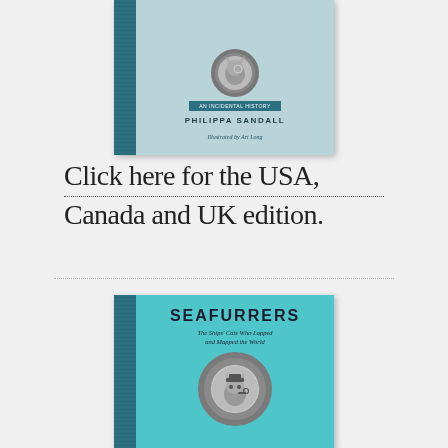[Figure (illustration): Book cover: light blue-gray cover with teal spine, circular porthole illustration with a cat wearing a monocle, banner reading 'AN INCIDENTAL HISTORY', author name 'PHILIPPA SANDALL', illustrated by Art Long]
Click here for the USA, Canada and UK edition.
[Figure (illustration): Book cover: bright turquoise/teal cover with dark teal spine, title 'SEAFURRERS' in bold uppercase, subtitle 'The Ships' Cats Who Lapped and Mapped the World', circular porthole illustration with a cat wearing a captain's hat and smoking a pipe]